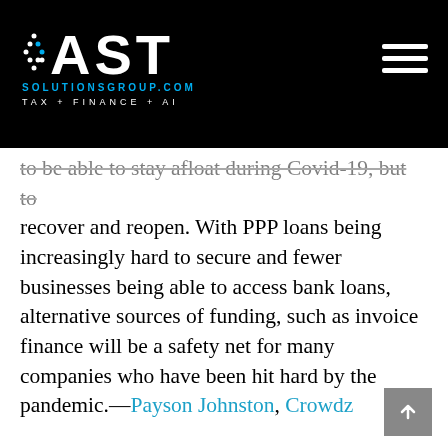VAST SOLUTIONSGROUP.COM TAX + FINANCE + AI
to be able to stay afloat during Covid-19, but to recover and reopen. With PPP loans being increasingly hard to secure and fewer businesses being able to access bank loans, alternative sources of funding, such as invoice finance will be a safety net for many companies who have been hit hard by the pandemic.—Payson Johnston, Crowdz
6. Outsourcing